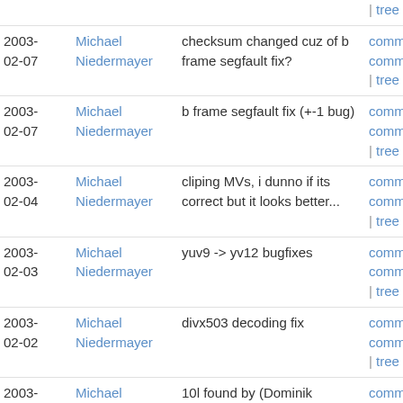| Date | Author | Message | Links |
| --- | --- | --- | --- |
|  |  |  | | tree |
| 2003-02-07 | Michael Niedermayer | checksum changed cuz of b frame segfault fix? | commit | commitdiff | tree |
| 2003-02-07 | Michael Niedermayer | b frame segfault fix (+-1 bug) | commit | commitdiff | tree |
| 2003-02-04 | Michael Niedermayer | cliping MVs, i dunno if its correct but it looks better... | commit | commitdiff | tree |
| 2003-02-03 | Michael Niedermayer | yuv9 -> yv12 bugfixes | commit | commitdiff | tree |
| 2003-02-02 | Michael Niedermayer | divx503 decoding fix | commit | commitdiff | tree |
| 2003-02-01 | Michael Niedermayer | 10l found by (Dominik Mierzejewski <dominik at rangers... | commit | commitdiff | tree |
| 2003-02-01 | Michael Niedermayer | fix for ppc compile broken by (Romain Dolbeau <dolbeau... | commit | commitdiff |